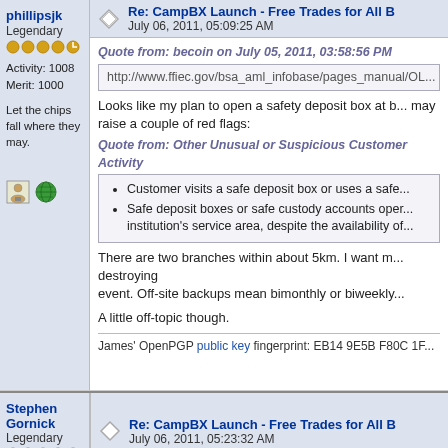phillipsjk | Re: CampBX Launch - Free Trades for All B | July 06, 2011, 05:09:25 AM
phillipsjk
Legendary
Activity: 1008
Merit: 1000
Let the chips fall where they may.
Quote from: becoin on July 05, 2011, 03:58:56 PM
http://www.ffiec.gov/bsa_aml_infobase/pages_manual/OL...
Looks like my plan to open a safety deposit box at b... may raise a couple of red flags:
Quote from: Other Unusual or Suspicious Customer Activity
• Customer visits a safe deposit box or uses a safe...
• Safe deposit boxes or safe custody accounts oper... institution's service area, despite the availability of...
There are two branches within about 5km. I want m... destroying
event. Off-site backups mean bimonthly or biweekly...
A little off-topic though.
James' OpenPGP public key fingerprint: EB14 9E5B F80C 1F...
Stephen Gornick | Legendary | Re: CampBX Launch - Free Trades for All B | July 06, 2011, 05:23:32 AM